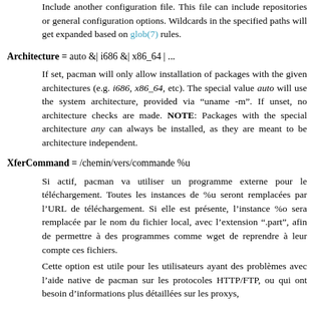Include another configuration file. This file can include repositories or general configuration options. Wildcards in the specified paths will get expanded based on glob(7) rules.
Architecture = auto &| i686 &| x86_64 | ...
If set, pacman will only allow installation of packages with the given architectures (e.g. i686, x86_64, etc). The special value auto will use the system architecture, provided via "uname -m". If unset, no architecture checks are made. NOTE: Packages with the special architecture any can always be installed, as they are meant to be architecture independent.
XferCommand = /chemin/vers/commande %u
Si actif, pacman va utiliser un programme externe pour le téléchargement. Toutes les instances de %u seront remplacées par l'URL de téléchargement. Si elle est présente, l'instance %o sera remplacée par le nom du fichier local, avec l'extension ".part", afin de permettre à des programmes comme wget de reprendre à leur compte ces fichiers.
Cette option est utile pour les utilisateurs ayant des problèmes avec l'aide native de pacman sur les protocoles HTTP/FTP, ou qui ont besoin d'informations plus détaillées sur les proxys,